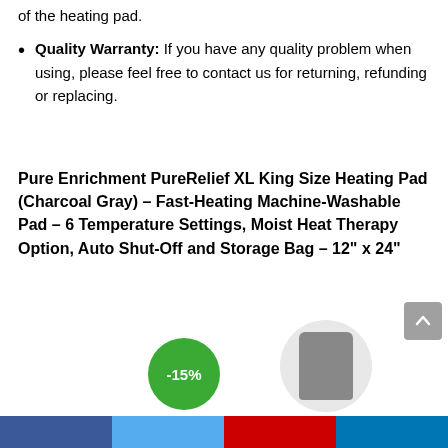of the heating pad.
Quality Warranty: If you have any quality problem when using, please feel free to contact us for returning, refunding or replacing.
Pure Enrichment PureRelief XL King Size Heating Pad (Charcoal Gray) – Fast-Heating Machine-Washable Pad – 6 Temperature Settings, Moist Heat Therapy Option, Auto Shut-Off and Storage Bag – 12" x 24"
[Figure (other): -15% discount badge (green circle)]
[Figure (other): Product image in circle, scroll-to-top button]
Social sharing bar at bottom